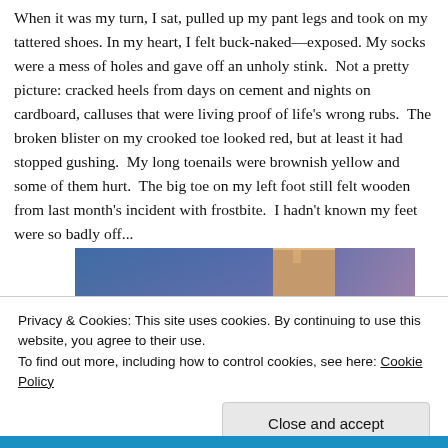When it was my turn, I sat, pulled up my pant legs and took on my tattered shoes. In my heart, I felt buck-naked—exposed. My socks were a mess of holes and gave off an unholy stink.  Not a pretty picture: cracked heels from days on cement and nights on cardboard, calluses that were living proof of life's wrong rubs.  The broken blister on my crooked toe looked red, but at least it had stopped gushing.  My long toenails were brownish yellow and some of them hurt.  The big toe on my left foot still felt wooden from last month's incident with frostbite.  I hadn't known my feet were so badly off...
[Figure (photo): Partial photo showing a gradient blue to purple background with a partial view of a tan/brown object at the top center, likely part of a foot or shoe photo.]
Privacy & Cookies: This site uses cookies. By continuing to use this website, you agree to their use.
To find out more, including how to control cookies, see here: Cookie Policy
Close and accept